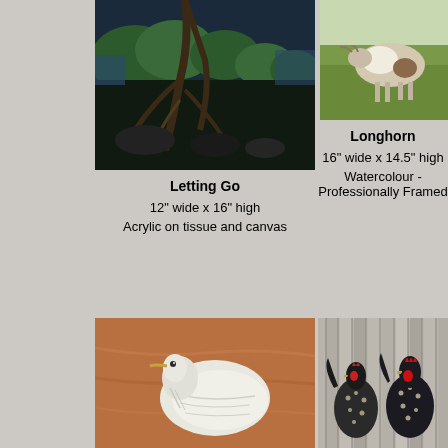[Figure (photo): Painting titled 'Letting Go' - dark tree with roots and rocks, acrylic on tissue and canvas]
Letting Go
12" wide x 16" high
Acrylic on tissue and canvas
[Figure (photo): Painting titled 'Longhorn' - longhorn cattle in a field, watercolour professionally framed]
Longhorn
16" wide x 14.5" high
Watercolour - Professionally Framed
[Figure (photo): Painting of a white bird/egret on brown background]
[Figure (photo): Painting of roosters against a grey wooden fence background]